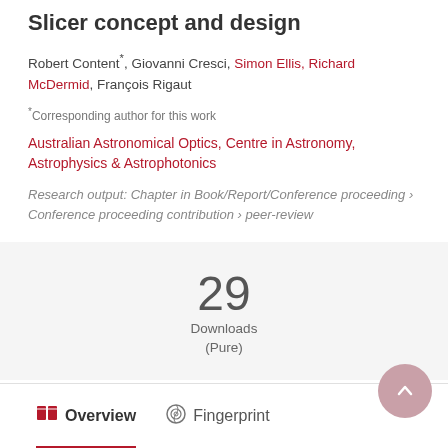Slicer concept and design
Robert Content*, Giovanni Cresci, Simon Ellis, Richard McDermid, François Rigaut
*Corresponding author for this work
Australian Astronomical Optics, Centre in Astronomy, Astrophysics & Astrophotonics
Research output: Chapter in Book/Report/Conference proceeding › Conference proceeding contribution › peer-review
29 Downloads (Pure)
Overview   Fingerprint